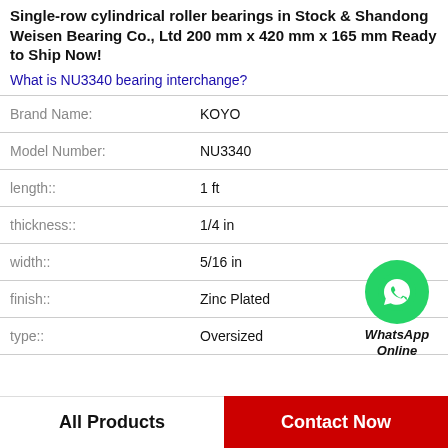Single-row cylindrical roller bearings in Stock & Shandong Weisen Bearing Co., Ltd 200 mm x 420 mm x 165 mm Ready to Ship Now!
What is NU3340 bearing interchange?
| Property | Value |
| --- | --- |
| Brand Name: | KOYO |
| Model Number: | NU3340 |
| length:: | 1 ft |
| thickness:: | 1/4 in |
| width:: | 5/16 in |
| finish:: | Zinc Plated |
| type:: | Oversized |
[Figure (logo): WhatsApp green phone icon with label 'WhatsApp Online']
All Products
Contact Now